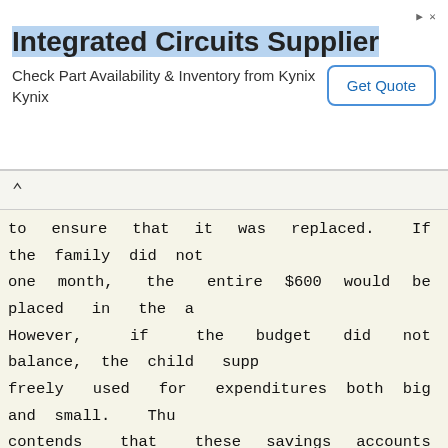[Figure (other): Advertisement banner for Integrated Circuits Supplier - Kynix, with Get Quote button]
to ensure that it was replaced. If the family did not one month, the entire $600 would be placed in the a However, if the budget did not balance, the child supp freely used for expenditures both big and small. Thu contends that these savings accounts were to be used marriage.

        However, as Vicki points out, these were c accounts from which every withdrawal by the marria documented and eventually replaced. We hold that the provides sufficient support so that the trial court's that the accounts were not marital property was not an a